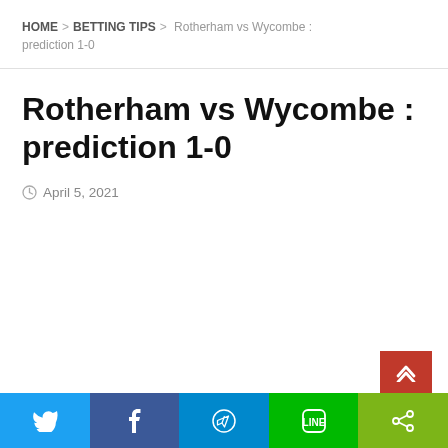HOME > BETTING TIPS > Rotherham vs Wycombe : prediction 1-0
Rotherham vs Wycombe : prediction 1-0
April 5, 2021